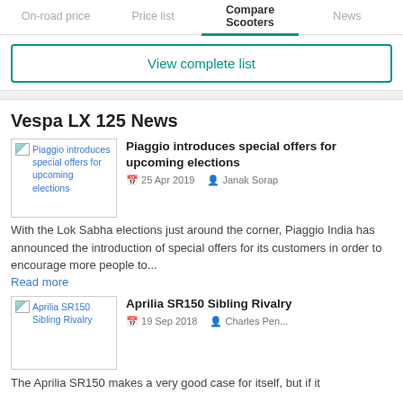On-road price | Price list | Compare Scooters | News
View complete list
Vespa LX 125 News
[Figure (photo): Thumbnail image for Piaggio introduces special offers for upcoming elections article]
Piaggio introduces special offers for upcoming elections
25 Apr 2019  Janak Sorap
With the Lok Sabha elections just around the corner, Piaggio India has announced the introduction of special offers for its customers in order to encourage more people to...
Read more
[Figure (photo): Thumbnail image for Aprilia SR150 Sibling Rivalry article]
Aprilia SR150 Sibling Rivalry
19 Sep 2018  Charles Pen...
The Aprilia SR150 makes a very good case for itself, but if it